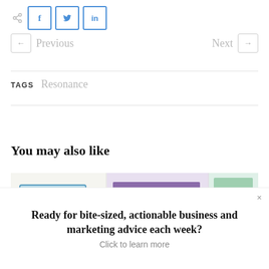[Figure (screenshot): Social share buttons: share icon, Facebook (f), Twitter (bird), LinkedIn (in), Previous and Next navigation buttons]
TAGS  Resonance
You may also like
[Figure (photo): Horizontal strip of three images showing wireframe/design sketches and colorful book spines]
Ready for bite-sized, actionable business and marketing advice each week? Click to learn more